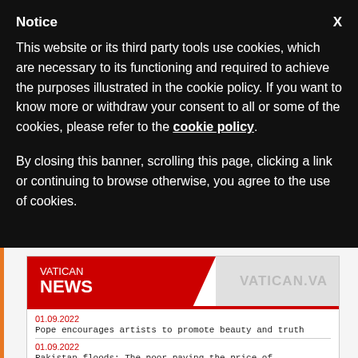Notice
This website or its third party tools use cookies, which are necessary to its functioning and required to achieve the purposes illustrated in the cookie policy. If you want to know more or withdraw your consent to all or some of the cookies, please refer to the cookie policy.
By closing this banner, scrolling this page, clicking a link or continuing to browse otherwise, you agree to the use of cookies.
[Figure (screenshot): Vatican News website screenshot showing the Vatican News logo with red background and VATICAN.VA text on gray background, with two news items dated 01.09.2022: 'Pope encourages artists to promote beauty and truth' and 'Pakistan floods: The poor paying the price of']